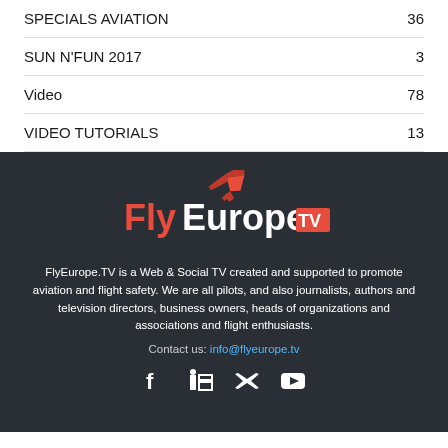SPECIALS AVIATION  36
SUN N'FUN 2017  3
Video  78
VIDEO TUTORIALS  13
[Figure (logo): FlyEurope.TV logo with red/orange airplane silhouette and red/white text on dark background]
FlyEurope.TV is a Web & Social TV created and supported to promote aviation and flight safety. We are all pilots, and also journalists, authors and television directors, business owners, heads of organizations and associations and flight enthusiasts.
Contact us: info@flyeurope.tv
[Figure (other): Social media icons: Facebook, LinkedIn, Twitter, YouTube]